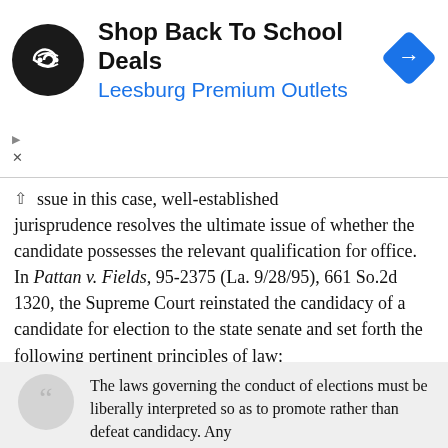[Figure (other): Advertisement banner for Leesburg Premium Outlets - Shop Back To School Deals, with circular black logo and blue diamond arrow icon]
ssue in this case, well-established jurisprudence resolves the ultimate issue of whether the candidate possesses the relevant qualification for office. In Pattan v. Fields, 95-2375 (La. 9/28/95), 661 So.2d 1320, the Supreme Court reinstated the candidacy of a candidate for election to the state senate and set forth the following pertinent principles of law:
The laws governing the conduct of elections must be liberally interpreted so as to promote rather than defeat candidacy. Any